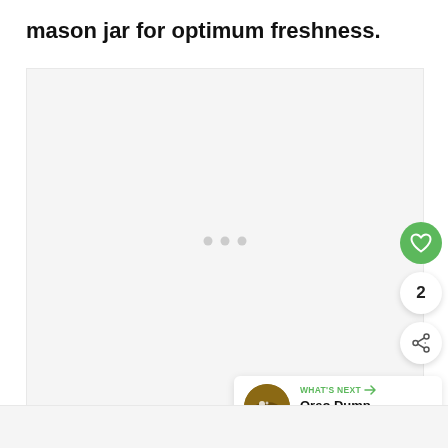mason jar for optimum freshness.
[Figure (photo): Large light gray placeholder image area with three small gray dots in the center, representing a loading or empty image state. Overlaid on the right side are a green heart/favorite button, a share count badge showing '2', a white share button with a network share icon, and a 'What's Next' panel at the bottom right showing an Oreo Dump Cake thumbnail with the title 'Oreo Dump Cake + Video'.]